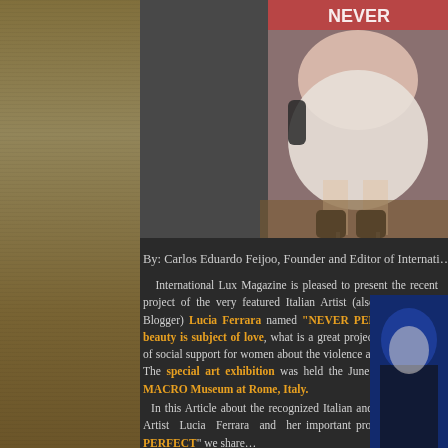[Figure (photo): Top image area: left portion shows a dark/grey background with partial artwork visible; right portion shows a fashion photograph of a woman in fur coat and black heels seated against decorative artwork with 'NEVER' text visible]
By: Carlos Eduardo Feijoo, Founder and Editor of Internati...
International Lux Magazine is pleased to present the recent project of the very featured Italian Artist (also Curator and Blogger) Lucia Ferrara named "NEVER PERFECT" The beauty is subject of love, what is a great project with a sense of social support for women about the violence against women. The special art exhibition was held the June,9,2017 in the MACRO Museum at Rome, Italy.
In this Article about the recognized Italian and international Artist Lucia Ferrara and her important project "NEVER PERFECT" we share...
[Figure (photo): Partial photo visible on right side showing a figure with blue background, partially cropped]